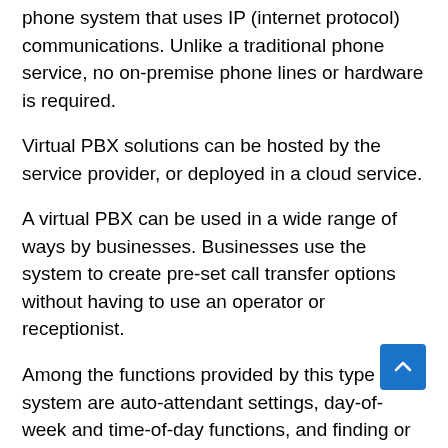phone system that uses IP (internet protocol) communications. Unlike a traditional phone service, no on-premise phone lines or hardware is required.
Virtual PBX solutions can be hosted by the service provider, or deployed in a cloud service.
A virtual PBX can be used in a wide range of ways by businesses. Businesses use the system to create pre-set call transfer options without having to use an operator or receptionist.
Among the functions provided by this type of system are auto-attendant settings, day-of-week and time-of-day functions, and finding or following my sequences.
An essential feature of a virtual PBX system is its ability to establish predetermined sequences. It may be appropriate in